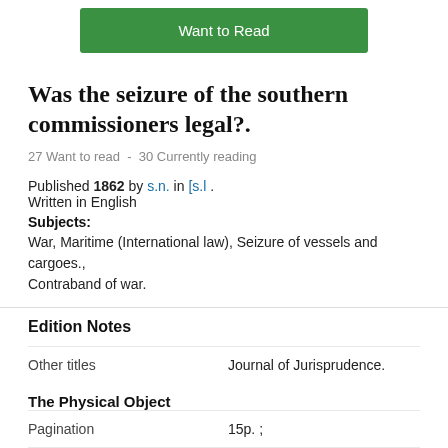[Figure (other): Green 'Want to Read' button]
Was the seizure of the southern commissioners legal?.
27 Want to read  -  30 Currently reading
Published 1862 by s.n. in [s.l . Written in English
Subjects: War, Maritime (International law), Seizure of vessels and cargoes., Contraband of war.
Edition Notes
|  |  |
| --- | --- |
| Other titles | Journal of Jurisprudence. |
| The Physical Object |  |
| Pagination | 15p. ; |
| Number of Pages | 15 |